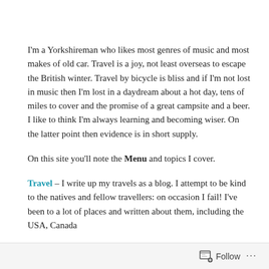I'm a Yorkshireman who likes most genres of music and most makes of old car. Travel is a joy, not least overseas to escape the British winter. Travel by bicycle is bliss and if I'm not lost in music then I'm lost in a daydream about a hot day, tens of miles to cover and the promise of a great campsite and a beer. I like to think I'm always learning and becoming wiser. On the latter point then evidence is in short supply.
On this site you'll note the Menu and topics I cover.
Travel – I write up my travels as a blog. I attempt to be kind to the natives and fellow travellers: on occasion I fail! I've been to a lot of places and written about them, including the USA, Canada
Follow